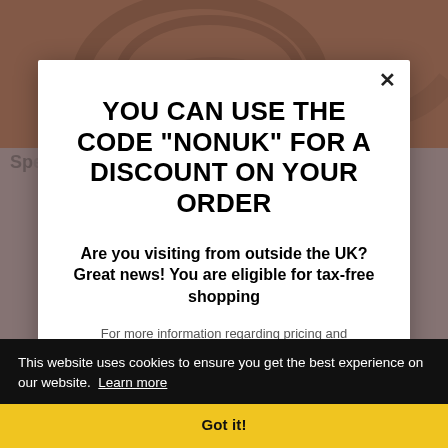[Figure (screenshot): Background of an e-commerce website product page, partially obscured by a modal overlay. Top portion shows a brownish product image. Below is partially visible page text starting with 'Sp' and a bullet point about 'Weight per meter: 58 g'.]
YOU CAN USE THE CODE "NONUK" FOR A DISCOUNT ON YOUR ORDER
Are you visiting from outside the UK? Great news! You are eligible for tax-free shopping
For more information regarding pricing and
This website uses cookies to ensure you get the best experience on our website. Learn more
Got it!